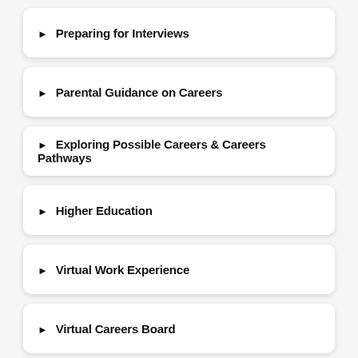Preparing for Interviews
Parental Guidance on Careers
Exploring Possible Careers & Careers Pathways
Higher Education
Virtual Work Experience
Virtual Careers Board